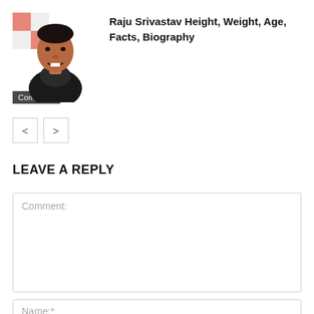[Figure (photo): Photo of Raju Srivastav with checkered orange/white background and 'Comedian' label overlay at bottom left]
Raju Srivastav Height, Weight, Age, Facts, Biography
< >
LEAVE A REPLY
Comment:
Name:*